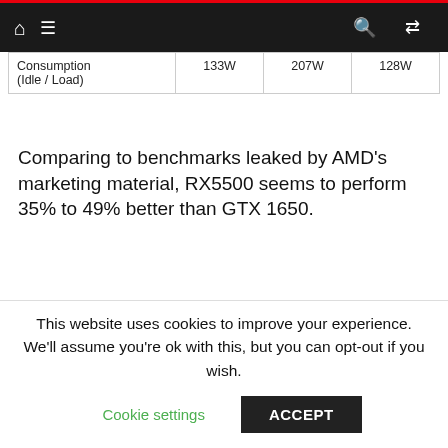Navigation bar with home, menu, search, and random icons
|  |  |  |  |
| --- | --- | --- | --- |
| Consumption (Idle / Load) | 133W | 207W | 128W |
Comparing to benchmarks leaked by AMD's marketing material, RX5500 seems to perform 35% to 49% better than GTX 1650.
[Figure (screenshot): Gaming Features table showing Radeon Software Adrenalin, Radeon Anti-Lag, Radeon Image Sharpening, FidelityFX, and AMD Radeon FreeSync Technology columns with descriptions]
This website uses cookies to improve your experience. We'll assume you're ok with this, but you can opt-out if you wish.
Cookie settings    ACCEPT